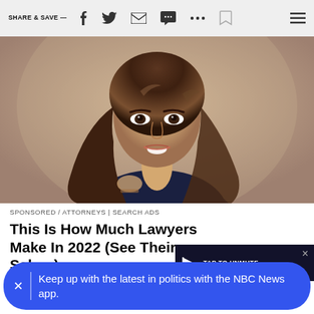SHARE & SAVE —
[Figure (photo): Portrait photo of a smiling young woman with long brunette hair, wearing a dark top, professional headshot style on a warm beige background]
SPONSORED / ATTORNEYS | SEARCH ADS
This Is How Much Lawyers Make In 2022 (See Their Salary).
[Figure (screenshot): Video player overlay with dark background showing a speaker/mute icon and 'TAP TO UNMUTE' text in white, with an X close button]
Keep up with the latest in politics with the NBC News app.